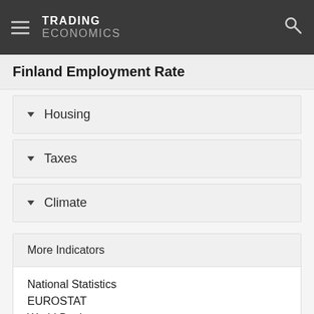TRADING ECONOMICS
Finland Employment Rate
Housing
Taxes
Climate
More Indicators
National Statistics
EUROSTAT
World Bank